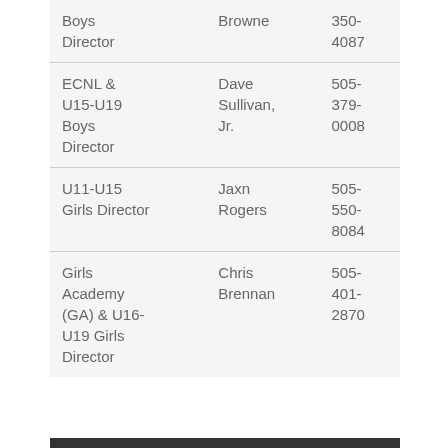| Role | Name | Phone |
| --- | --- | --- |
| Boys Director | Browne | 350-4087 |
| ECNL & U15-U19 Boys Director | Dave Sullivan, Jr. | 505-379-0008 |
| U11-U15 Girls Director | Jaxn Rogers | 505-550-8084 |
| Girls Academy (GA) & U16-U19 Girls Director | Chris Brennan | 505-401-2870 |